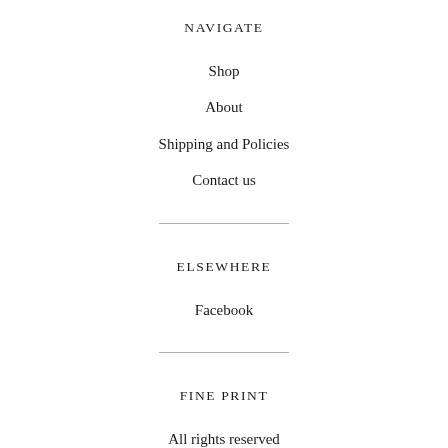NAVIGATE
Shop
About
Shipping and Policies
Contact us
ELSEWHERE
Facebook
FINE PRINT
All rights reserved